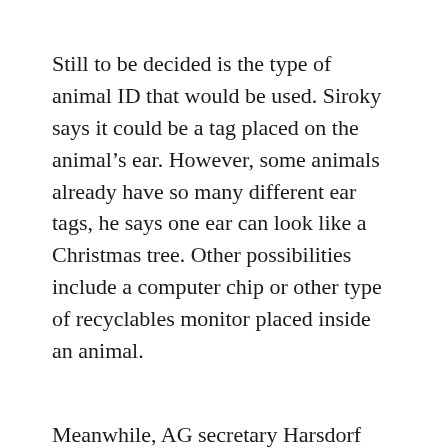Still to be decided is the type of animal ID that would be used. Siroky says it could be a tag placed on the animal's ear. However, some animals already have so many different ear tags, he says one ear can look like a Christmas tree. Other possibilities include a computer chip or other type of recyclables monitor placed inside an animal.
Meanwhile, AG secretary Harsdorf says the records included in a computerized type of system could be very beneficial to consumers at the supermarket.